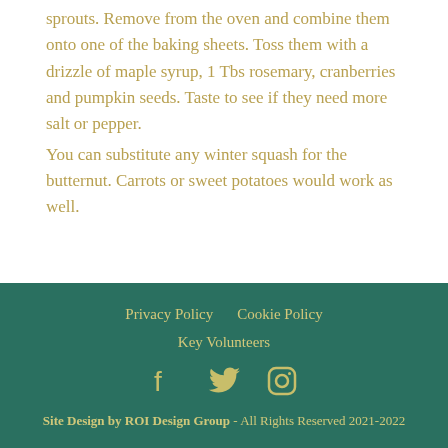sprouts.  Remove from the oven and combine them onto one of the baking sheets.  Toss them with a drizzle of maple syrup, 1 Tbs rosemary, cranberries and pumpkin seeds.  Taste to see if they need more salt or pepper.

You can substitute any winter squash for the butternut.  Carrots or sweet potatoes would work as well.
Privacy Policy   Cookie Policy   Key Volunteers   Site Design by ROI Design Group - All Rights Reserved 2021-2022